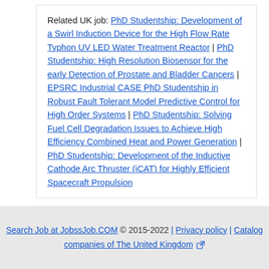Related UK job: PhD Studentship: Development of a Swirl Induction Device for the High Flow Rate Typhon UV LED Water Treatment Reactor | PhD Studentship: High Resolution Biosensor for the early Detection of Prostate and Bladder Cancers | EPSRC Industrial CASE PhD Studentship in Robust Fault Tolerant Model Predictive Control for High Order Systems | PhD Studentship: Solving Fuel Cell Degradation Issues to Achieve High Efficiency Combined Heat and Power Generation | PhD Studentship: Development of the Inductive Cathode Arc Thruster (iCAT) for Highly Efficient Spacecraft Propulsion
Search Job at JobssJob.COM © 2015-2022 | Privacy policy | Catalog companies of The United Kingdom